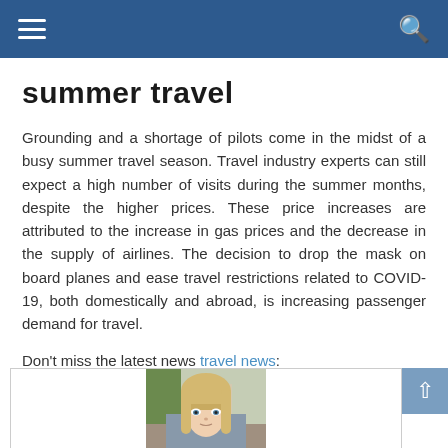Navigation header with hamburger menu and search icon
summer travel
Grounding and a shortage of pilots come in the midst of a busy summer travel season. Travel industry experts can still expect a high number of visits during the summer months, despite the higher prices. These price increases are attributed to the increase in gas prices and the decrease in the supply of airlines. The decision to drop the mask on board planes and ease travel restrictions related to COVID-19, both domestically and abroad, is increasing passenger demand for travel.
Don't miss the latest news travel news:
[Figure (photo): Photo of a young woman with blonde bangs, looking directly at camera, partial torso visible, indoor background]